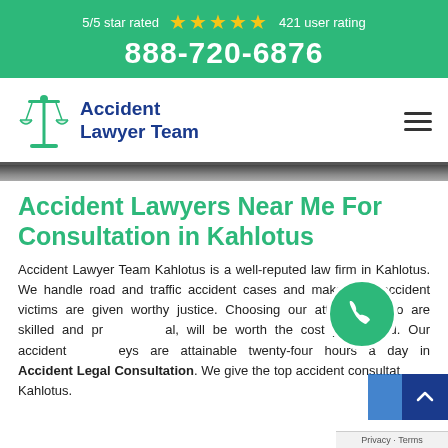5/5 star rated ★★★★★ 421 user rating
888-720-6876
[Figure (logo): Accident Lawyer Team logo with scales of justice icon and text 'Accident Lawyer Team' in dark blue]
Accident Lawyers Near Me For Consultation in Kahlotus
Accident Lawyer Team Kahlotus is a well-reputed law firm in Kahlotus. We handle road and traffic accident cases and make sure accident victims are given worthy justice. Choosing our attorneys, who are skilled and professional, will be worth the cost you spend. Our accident attorneys are attainable twenty-four hours a day in Accident Legal Consultation. We give the top accident consultation Kahlotus.